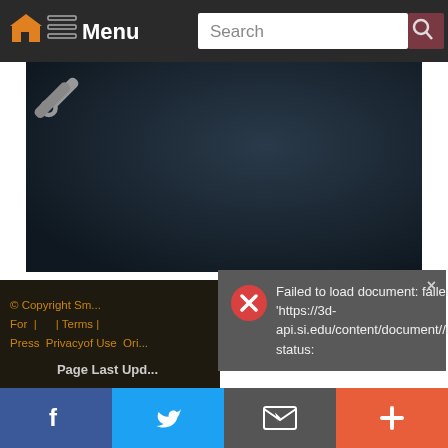[Figure (screenshot): Website navigation bar with home icon, menu icon and text 'Menu', search box, and search button]
[Figure (screenshot): Dark media/video area with a wrench/tools icon in the upper-left corner]
[Figure (screenshot): Error popup overlay: red circle X icon, close X button, text 'Failed to load document: failed to fetch from https://3d-api.si.edu/content/document//document.json. status:']
© Copyright Sm...
For | | Terms | Press Privacyof Use Ori...
Page Last Upd...
[Figure (screenshot): Social media bottom bar with Facebook (blue), Twitter (light blue), Email/envelope (gray), and Plus (orange-red) buttons]